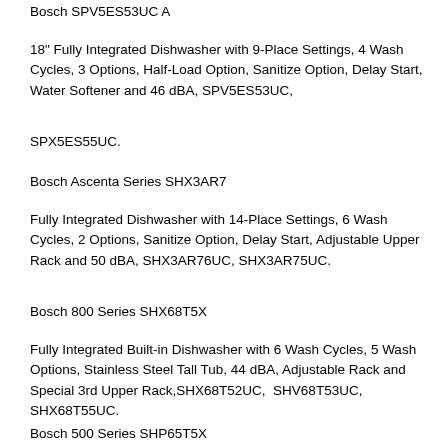Bosch SPV5ES53UC A
18" Fully Integrated Dishwasher with 9-Place Settings, 4 Wash Cycles, 3 Options, Half-Load Option, Sanitize Option, Delay Start, Water Softener and 46 dBA, SPV5ES53UC,
SPX5ES55UC.
Bosch Ascenta Series SHX3AR7
Fully Integrated Dishwasher with 14-Place Settings, 6 Wash Cycles, 2 Options, Sanitize Option, Delay Start, Adjustable Upper Rack and 50 dBA, SHX3AR76UC, SHX3AR75UC.
Bosch 800 Series SHX68T5X
Fully Integrated Built-in Dishwasher with 6 Wash Cycles, 5 Wash Options, Stainless Steel Tall Tub, 44 dBA, Adjustable Rack and Special 3rd Upper Rack,SHX68T52UC,  SHV68T53UC, SHX68T55UC.
Bosch 500 Series SHP65T5X
Fully Integrated Built-in Dishwasher with 5 Wash Cycles, 5 Wash Options, Stainless Steel Tall Tub, 44 dBA, Adjustable Rack and Special